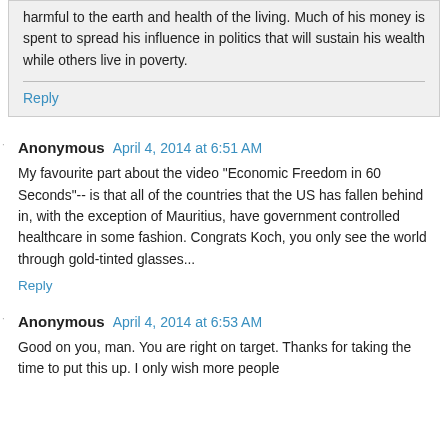harmful to the earth and health of the living. Much of his money is spent to spread his influence in politics that will sustain his wealth while others live in poverty.
Reply
Anonymous  April 4, 2014 at 6:51 AM
My favourite part about the video "Economic Freedom in 60 Seconds"-- is that all of the countries that the US has fallen behind in, with the exception of Mauritius, have government controlled healthcare in some fashion. Congrats Koch, you only see the world through gold-tinted glasses...
Reply
Anonymous  April 4, 2014 at 6:53 AM
Good on you, man. You are right on target. Thanks for taking the time to put this up. I only wish more people